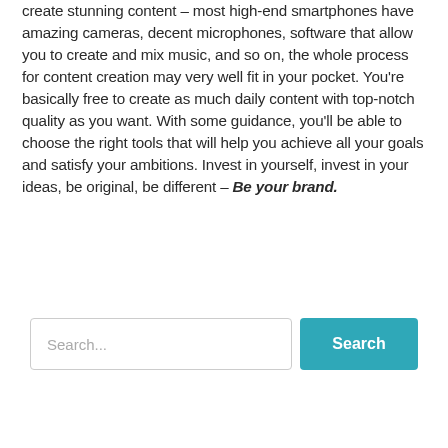create stunning content – most high-end smartphones have amazing cameras, decent microphones, software that allow you to create and mix music, and so on, the whole process for content creation may very well fit in your pocket. You're basically free to create as much daily content with top-notch quality as you want. With some guidance, you'll be able to choose the right tools that will help you achieve all your goals and satisfy your ambitions. Invest in yourself, invest in your ideas, be original, be different – Be your brand.